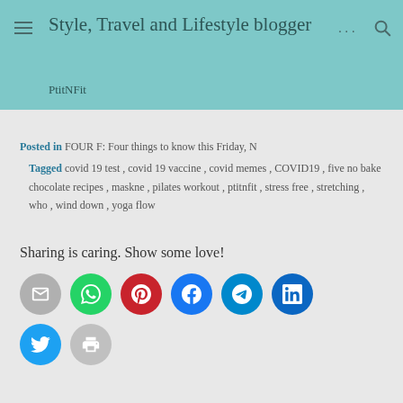Style, Travel and Lifestyle blogger
PtitNFit
Posted in FOUR F: Four things to know this Friday, N
Tagged covid 19 test, covid 19 vaccine, covid memes, COVID19, five no bake chocolate recipes, maskne, pilates workout, ptitnfit, stress free, stretching, who, wind down, yoga flow
Sharing is caring. Show some love!
[Figure (other): Social sharing buttons: email, WhatsApp, Pinterest, Facebook, Telegram, LinkedIn, Twitter, Print]